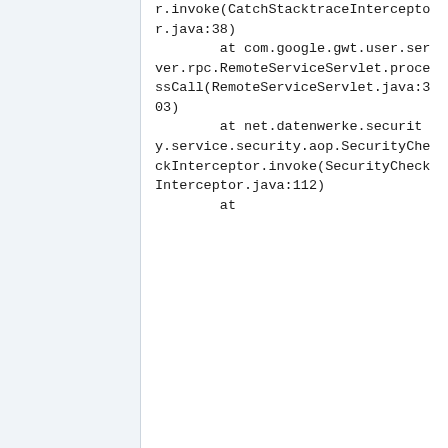r.invoke(CatchStacktraceInterceptor.java:38)
        at com.google.gwt.user.server.rpc.RemoteServiceServlet.processCall(RemoteServiceServlet.java:303)
        at net.datenwerke.security.service.security.aop.SecurityCheckInterceptor.invoke(SecurityCheckInterceptor.java:112)
        at